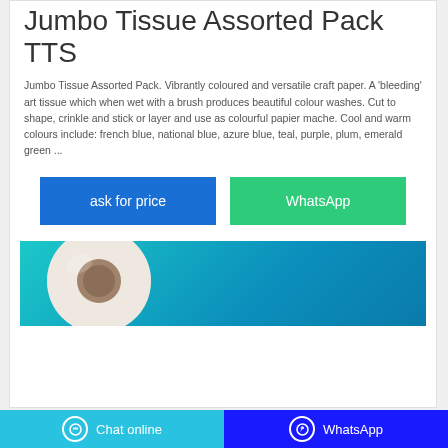Jumbo Tissue Assorted Pack TTS
Jumbo Tissue Assorted Pack. Vibrantly coloured and versatile craft paper. A 'bleeding' art tissue which when wet with a brush produces beautiful colour washes. Cut to shape, crinkle and stick or layer and use as colourful papier mache. Cool and warm colours include: french blue, national blue, azure blue, teal, purple, plum, emerald green ...
[Figure (other): Two interactive buttons: 'ask for price' (blue) and 'WhatsApp' (green)]
[Figure (photo): Product photo of a jumbo tissue roll on a teal/cyan background]
Chat online    WhatsApp